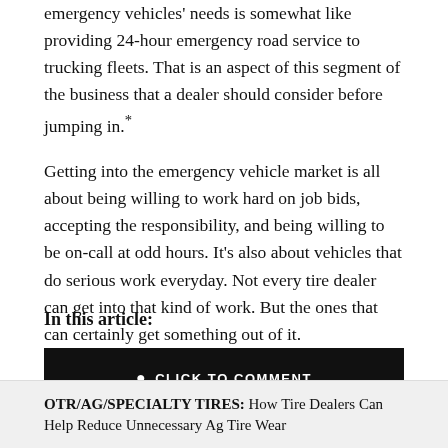emergency vehicles' needs is somewhat like providing 24-hour emergency road service to trucking fleets. That is an aspect of this segment of the business that a dealer should consider before jumping in.*
Getting into the emergency vehicle market is all about being willing to work hard on job bids, accepting the responsibility, and being willing to be on-call at odd hours. It's also about vehicles that do serious work everyday. Not every tire dealer can get into that kind of work. But the ones that can certainly get something out of it.
In this article:
CLICK TO COMMENT
OTR/AG/SPECIALTY TIRES: How Tire Dealers Can Help Reduce Unnecessary Ag Tire Wear